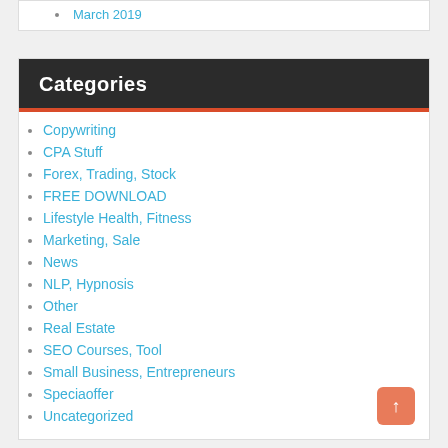March 2019
Categories
Copywriting
CPA Stuff
Forex, Trading, Stock
FREE DOWNLOAD
Lifestyle Health, Fitness
Marketing, Sale
News
NLP, Hypnosis
Other
Real Estate
SEO Courses, Tool
Small Business, Entrepreneurs
Speciaoffer
Uncategorized